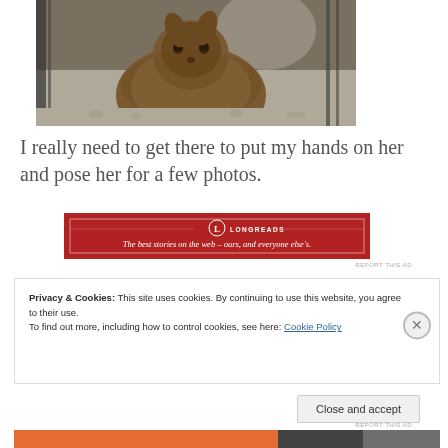[Figure (photo): Close-up photo of a brown/grey rabbit on gravel, partially visible with a cage visible in the background]
I really need to get there to put my hands on her and pose her for a few photos.
[Figure (other): Advertisement banner: Longreads logo and tagline 'The best stories on the web — ours, and everyone else's.' on a red background]
REPORT THIS AD
Privacy & Cookies: This site uses cookies. By continuing to use this website, you agree to their use.
To find out more, including how to control cookies, see here: Cookie Policy
Close and accept